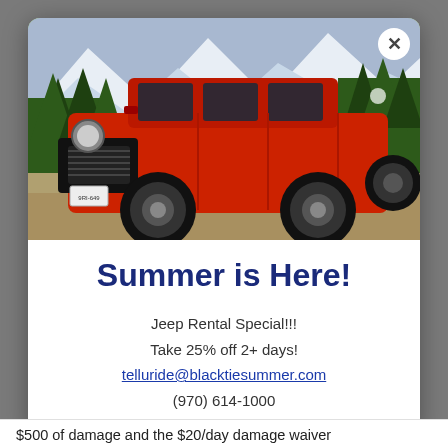[Figure (photo): Red Jeep Wrangler parked on a dirt road with pine trees and mountains in the background]
Summer is Here!
Jeep Rental Special!!!
Take 25% off 2+ days!
telluride@blacktiesummer.com
(970) 614-1000
$500 of damage and the $20/day damage waiver